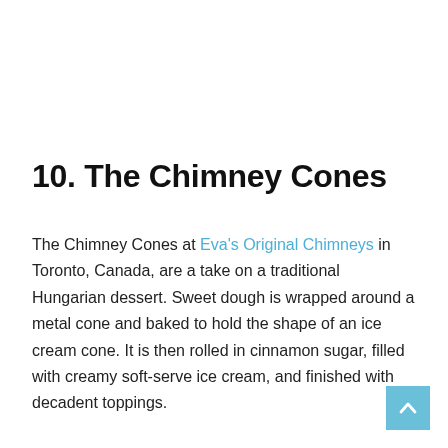10. The Chimney Cones
The Chimney Cones at Eva's Original Chimneys in Toronto, Canada, are a take on a traditional Hungarian dessert. Sweet dough is wrapped around a metal cone and baked to hold the shape of an ice cream cone. It is then rolled in cinnamon sugar, filled with creamy soft-serve ice cream, and finished with decadent toppings.